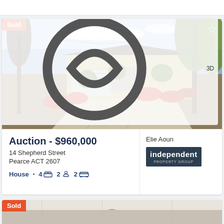[Figure (photo): Exterior photo of a single-storey brick house with garden, driveway, trees, and red flowering plants. 'Sold' badge top-left. Star icon top-right. Image counter '12' and '3D' overlay bottom-right.]
Auction - $960,000
14 Shepherd Street
Pearce ACT 2607
House • 4 [bed] 2 [bath] 2 [car]
Elie Aoun
[Figure (logo): Independent Property Group logo — dark grey/black background with 'independent' in bold white and 'PROPERTY GROUP' in small caps below]
[Figure (photo): Partial view of a second property listing photo, grey/beige interior, with 'Sold' badge top-left]